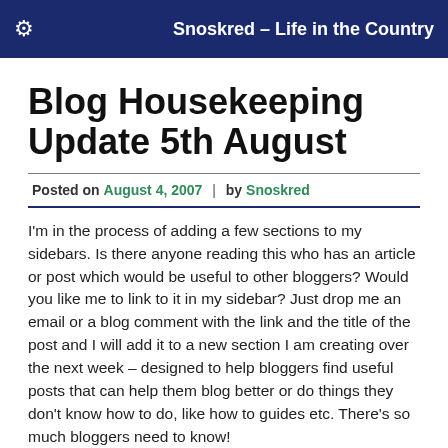Snoskred – Life in the Country
Blog Housekeeping Update 5th August
Posted on August 4, 2007 | by Snoskred
I'm in the process of adding a few sections to my sidebars. Is there anyone reading this who has an article or post which would be useful to other bloggers? Would you like me to link to it in my sidebar? Just drop me an email or a blog comment with the link and the title of the post and I will add it to a new section I am creating over the next week – designed to help bloggers find useful posts that can help them blog better or do things they don't know how to do, like how to guides etc. There's so much bloggers need to know!
So on the right hand side bar you may spot a new scrolling list